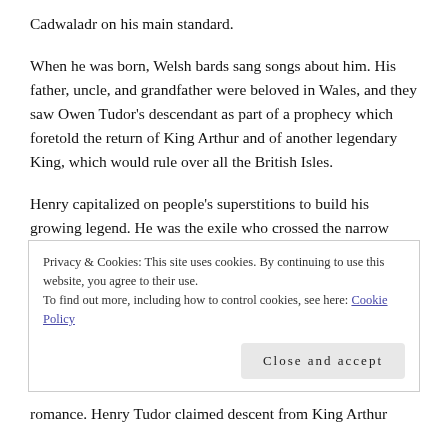Cadwaladr on his main standard.
When he was born, Welsh bards sang songs about him. His father, uncle, and grandfather were beloved in Wales, and they saw Owen Tudor’s descendant as part of a prophecy which foretold the return of King Arthur and of another legendary King, which would rule over all the British Isles.
Henry capitalized on people’s superstitions to build his growing legend. He was the exile who crossed the narrow
Privacy & Cookies: This site uses cookies. By continuing to use this website, you agree to their use.
To find out more, including how to control cookies, see here: Cookie Policy
Close and accept
romance. Henry Tudor claimed descent from King Arthur